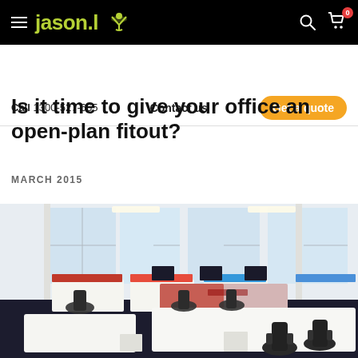jason.l [logo] — navigation bar with hamburger menu, search, and cart
Call 1300-527-665   Contact us   Get a quote
Is it time to give your office an open-plan fitout?
MARCH 2015
[Figure (photo): Open-plan office fitout showing rows of white workstations with black mesh chairs, colourful screen dividers, and large windows with natural light]